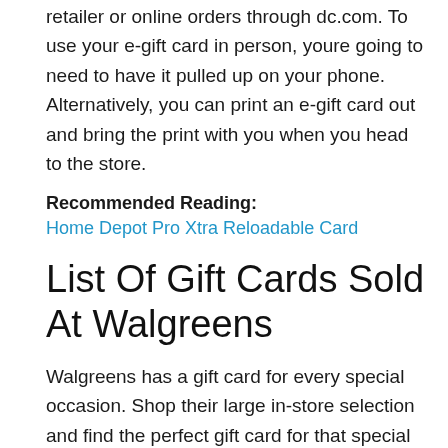retailer or online orders through dc.com. To use your e-gift card in person, youre going to need to have it pulled up on your phone. Alternatively, you can print an e-gift card out and bring the print with you when you head to the store.
Recommended Reading:
Home Depot Pro Xtra Reloadable Card
List Of Gift Cards Sold At Walgreens
Walgreens has a gift card for every special occasion. Shop their large in-store selection and find the perfect gift card for that special someone.
Walgreens carries over 108 different types of gift card brands in-store. Some of the most popular gift cards at Walgreens